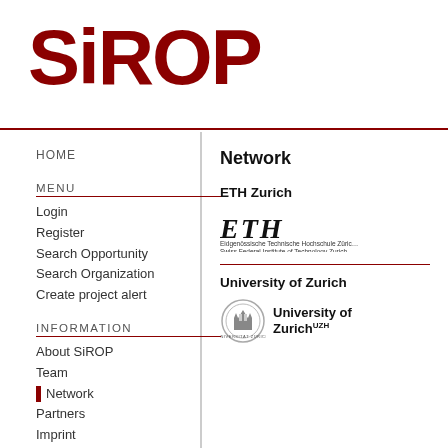SiROP
HOME
MENU
Login
Register
Search Opportunity
Search Organization
Create project alert
INFORMATION
About SiROP
Team
Network
Partners
Imprint
Terms & conditions
Network
ETH Zurich
[Figure (logo): ETH Zurich logo with italic ETH text and full name in small print: Eidgenössische Technische Hochschule Zürich / Swiss Federal Institute of Technology Zurich]
University of Zurich
[Figure (logo): University of Zurich logo with circular seal and bold text 'University of Zurich' with UZH superscript]